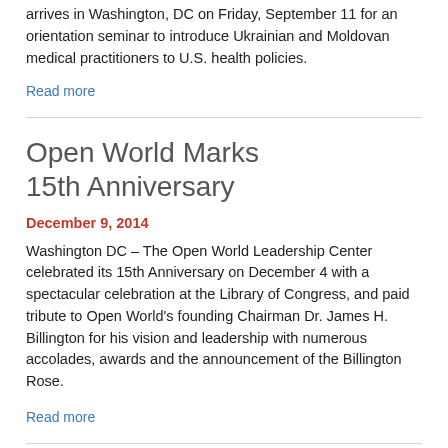arrives in Washington, DC on Friday, September 11 for an orientation seminar to introduce Ukrainian and Moldovan medical practitioners to U.S. health policies.
Read more
Open World Marks 15th Anniversary
December 9, 2014
Washington DC – The Open World Leadership Center celebrated its 15th Anniversary on December 4 with a spectacular celebration at the Library of Congress, and paid tribute to Open World's founding Chairman Dr. James H. Billington for his vision and leadership with numerous accolades, awards and the announcement of the Billington Rose.
Read more
1 2 3 4 5 next › last »